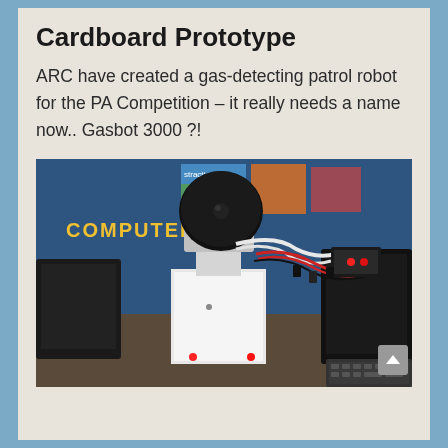Cardboard Prototype
ARC have created a gas-detecting patrol robot for the PA Competition – it really needs a name now.. Gasbot 3000 ?!
[Figure (photo): A cardboard prototype robot in a classroom. It has a round black webcam/sensor mounted on top, a white cardboard body with red and black wires, and a circuit board module attached. The background shows a classroom with a blue display board labeled COMPUTER and various educational posters.]